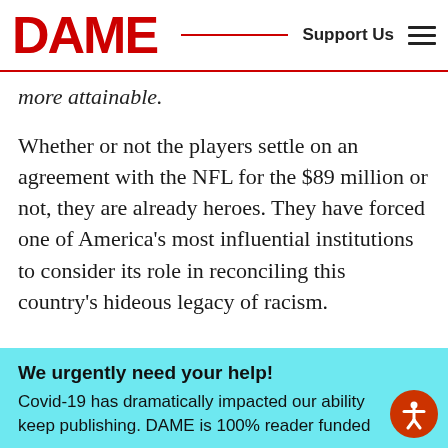DAME | Support Us
more attainable.
Whether or not the players settle on an agreement with the NFL for the $89 million or not, they are already heroes. They have forced one of America's most influential institutions to consider its role in reconciling this country's hideous legacy of racism.
A consideration that every institution in this country should now be forced to make.
We urgently need your help! Covid-19 has dramatically impacted our ability keep publishing. DAME is 100% reader funded